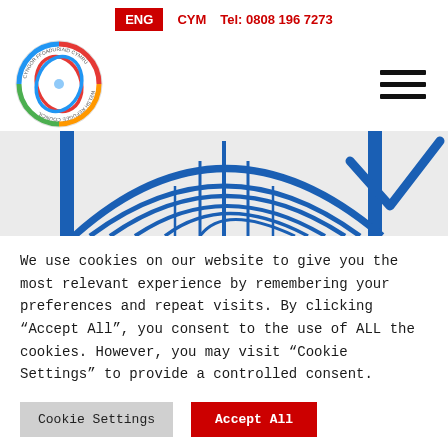ENG  CYM  Tel: 0808 196 7273
[Figure (logo): Welsh Refugee Council circular logo with colorful rings and text around the border]
[Figure (illustration): Blue DNA double helix / arch structure graphic, partially visible as a cropped hero banner image]
We use cookies on our website to give you the most relevant experience by remembering your preferences and repeat visits. By clicking “Accept All”, you consent to the use of ALL the cookies. However, you may visit “Cookie Settings” to provide a controlled consent.
Cookie Settings  Accept All